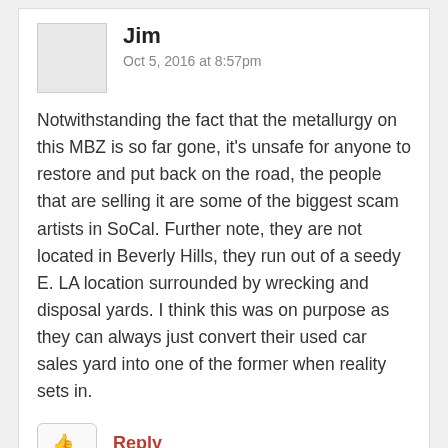Jim
Oct 5, 2016 at 8:57pm
Notwithstanding the fact that the metallurgy on this MBZ is so far gone, it’s unsafe for anyone to restore and put back on the road, the people that are selling it are some of the biggest scam artists in SoCal. Further note, they are not located in Beverly Hills, they run out of a seedy E. LA location surrounded by wrecking and disposal yards. I think this was on purpose as they can always just convert their used car sales yard into one of the former when reality sets in.
Reply